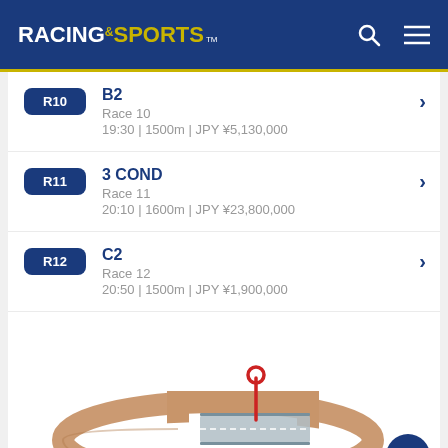RACING AND SPORTS
R10 | B2 | Race 10 | 19:30 | 1500m | JPY ¥5,130,000
R11 | 3 COND | Race 11 | 20:10 | 1600m | JPY ¥23,800,000
R12 | C2 | Race 12 | 20:50 | 1500m | JPY ¥1,900,000
[Figure (illustration): 3D illustration of a horse racing track oval with a straight, viewed from a slight elevation angle. A red starting pin is visible near the straight.]